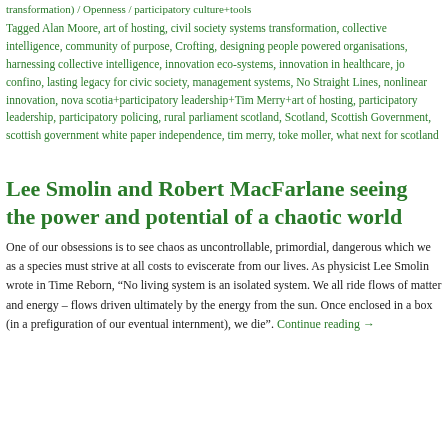transformation) / Openness / participatory culture+tools
Tagged Alan Moore, art of hosting, civil society systems transformation, collective intelligence, community of purpose, Crofting, designing people powered organisations, harnessing collective intelligence, innovation eco-systems, innovation in healthcare, jo confino, lasting legacy for civic society, management systems, No Straight Lines, nonlinear innovation, nova scotia+participatory leadership+Tim Merry+art of hosting, participatory leadership, participatory policing, rural parliament scotland, Scotland, Scottish Government, scottish government white paper independence, tim merry, toke moller, what next for scotland
Lee Smolin and Robert MacFarlane seeing the power and potential of a chaotic world
One of our obsessions is to see chaos as uncontrollable, primordial, dangerous which we as a species must strive at all costs to eviscerate from our lives. As physicist Lee Smolin wrote in Time Reborn, “No living system is an isolated system. We all ride flows of matter and energy – flows driven ultimately by the energy from the sun. Once enclosed in a box (in a prefiguration of our eventual internment), we die”. Continue reading →